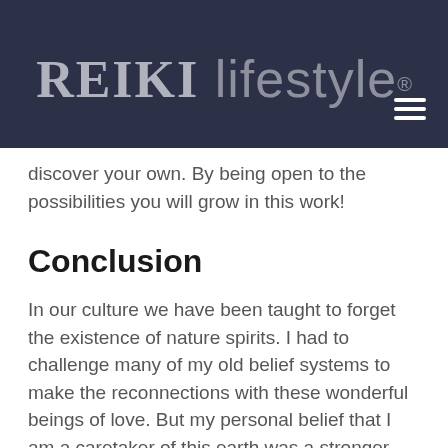REIKI lifestyle®
discover your own. By being open to the possibilities you will grow in this work!
Conclusion
In our culture we have been taught to forget the existence of nature spirits. I had to challenge many of my old belief systems to make the reconnections with these wonderful beings of love. But my personal belief that I am a caretaker of this earth was a stronger truth inside that made me willing to seek new…